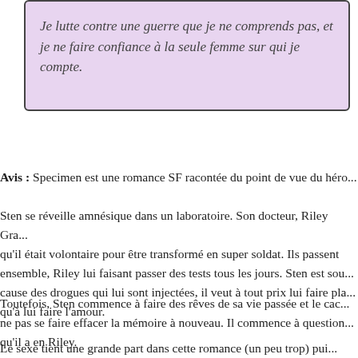Je lutte contre une guerre que je ne comprends pas, et je ne faire confiance à la seule femme sur qui je compte.
Avis : Specimen est une romance SF racontée du point de vue du héro...
Sten se réveille amnésique dans un laboratoire. Son docteur, Riley Gra... qu'il était volontaire pour être transformé en super soldat. Ils passent ensemble, Riley lui faisant passer des tests tous les jours. Sten est sou... cause des drogues qui lui sont injectées, il veut à tout prix lui faire pla... qu'à lui faire l'amour.
Toutefois, Sten commence à faire des rêves de sa vie passée et le cac... ne pas se faire effacer la mémoire à nouveau. Il commence à question... qu'il a en Riley.
Le sexe tient une grande part dans cette romance (un peu trop) pui...